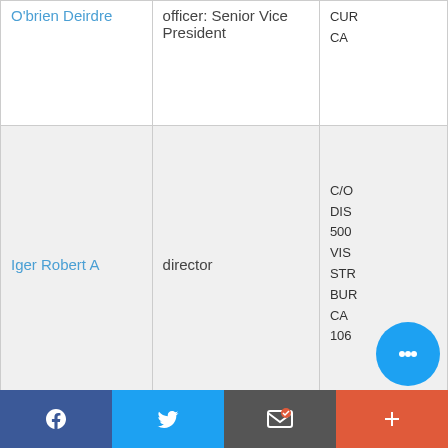| Name | Role | Address |
| --- | --- | --- |
| O'brien Deirdre | officer: Senior Vice President | CUR
CA |
| Iger Robert A | director | C/O
DIS
500
VIS
STR
BUR
CA
106 |
| Jung Andrea | director | C/O
INC
APP
WA
C |